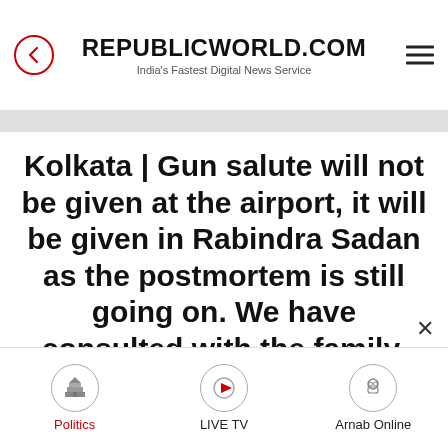REPUBLICWORLD.COM
India's Fastest Digital News Service
Kolkata | Gun salute will not be given at the airport, it will be given in Rabindra Sadan as the postmortem is still going on. We have consulted with the family, they have a 5.15 pm flight so we will pay
Politics | LIVE TV | Arnab Online